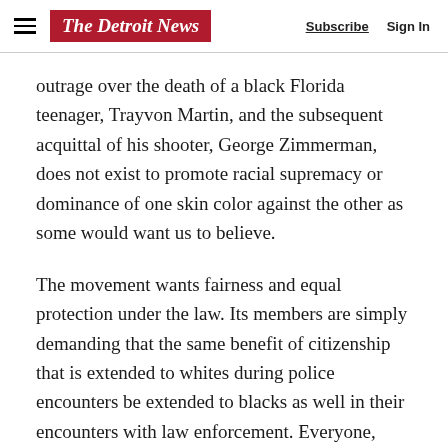The Detroit News | Subscribe | Sign In
outrage over the death of a black Florida teenager, Trayvon Martin, and the subsequent acquittal of his shooter, George Zimmerman, does not exist to promote racial supremacy or dominance of one skin color against the other as some would want us to believe.
The movement wants fairness and equal protection under the law. Its members are simply demanding that the same benefit of citizenship that is extended to whites during police encounters be extended to blacks as well in their encounters with law enforcement. Everyone, irrespective of race, should enjoy the presumption of innocence until proven guilty.